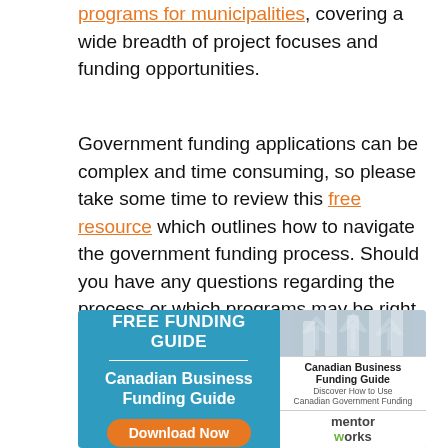programs for municipalities, covering a wide breadth of project focuses and funding opportunities.
Government funding applications can be complex and time consuming, so please take some time to review this free resource which outlines how to navigate the government funding process. Should you have any questions regarding the process or which programs may be right for you, we recommend you get in touch with a professional today.
[Figure (infographic): Advertisement banner for a Free Funding Guide - Canadian Business Funding Guide. Left side has blue background with white text 'FREE FUNDING GUIDE', divider line, 'Canadian Business Funding Guide', and an orange Download Now button. Right side shows book cover and MentorWorks logo.]